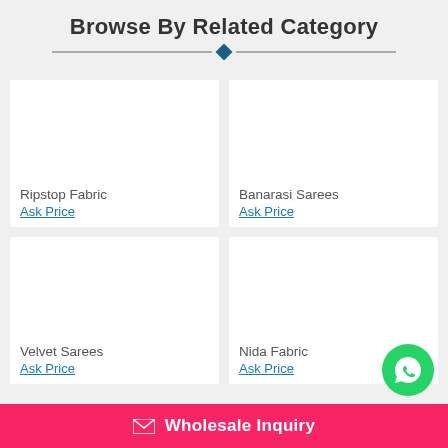Browse By Related Category
Ripstop Fabric
Ask Price
Banarasi Sarees
Ask Price
Velvet Sarees
Ask Price
Nida Fabric
Ask Price
Wholesale Inquiry